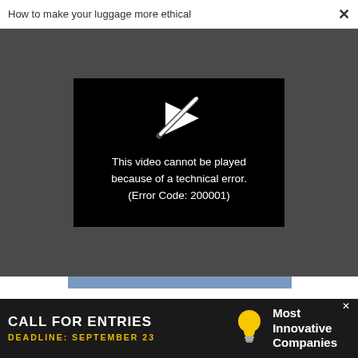How to make your luggage more ethical   ×
[Figure (screenshot): Video player showing error: 'This video cannot be played because of a technical error. (Error Code: 200001)' with a broken play icon on black background, overlaid on a dark gray video area with a blue progress bar below.]
A relevant factor in this regard is the tone, complexity, and mood of the stories that people tell themselves. For instance, it's been shown that people
[Figure (infographic): Advertisement banner reading 'CALL FOR ENTRIES DEADLINE: SEPTEMBER 23' with a lightbulb icon and 'Most Innovative Companies' text on dark background.]